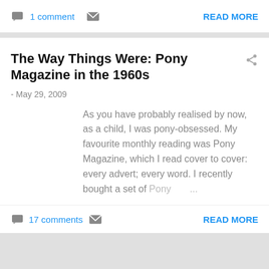1 comment   READ MORE
The Way Things Were: Pony Magazine in the 1960s
- May 29, 2009
As you have probably realised by now, as a child, I was pony-obsessed. My favourite monthly reading was Pony Magazine, which I read cover to cover: every advert; every word. I recently bought a set of Pony ...
17 comments   READ MORE